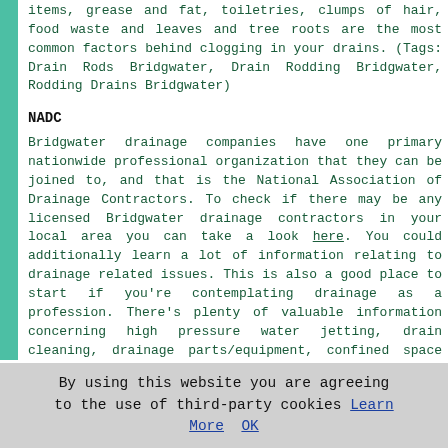items, grease and fat, toiletries, clumps of hair, food waste and leaves and tree roots are the most common factors behind clogging in your drains. (Tags: Drain Rods Bridgwater, Drain Rodding Bridgwater, Rodding Drains Bridgwater)
NADC
Bridgwater drainage companies have one primary nationwide professional organization that they can be joined to, and that is the National Association of Drainage Contractors. To check if there may be any licensed Bridgwater drainage contractors in your local area you can take a look here. You could additionally learn a lot of information relating to drainage related issues. This is also a good place to start if you're contemplating drainage as a profession. There's plenty of valuable information concerning high pressure water jetting, drain cleaning, drainage parts/equipment, confined space training, drain insurance, CCTV drain surveys, polymer drain lining, drain mapping/tracing and drain safety equipment.
High Pressure Jetting Bridgwater
By using this website you are agreeing to the use of third-party cookies Learn More OK